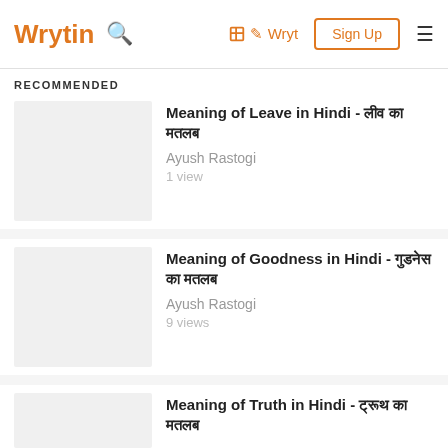Wrytin | Wryt | Sign Up
RECOMMENDED
Meaning of Leave in Hindi - लीव का मतलब
Ayush Rastogi
1 view
Meaning of Goodness in Hindi - गुडनेस का मतलब
Ayush Rastogi
9 views
Meaning of Truth in Hindi - ट्रूथ का मतलब